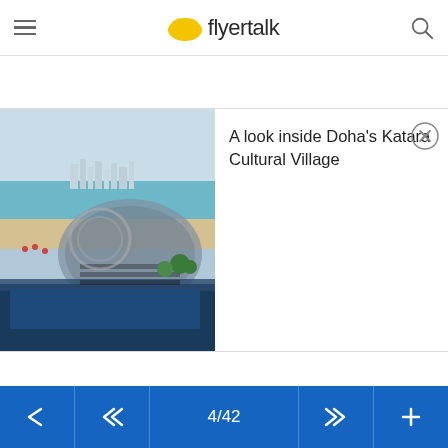flyertalk
[Figure (photo): Aerial view of Doha's Katara Cultural Village area showing a beach, turquoise water, city skyline, and a curved architectural structure with a pool in the foreground]
A look inside Doha's Katara Cultural Village
4/42